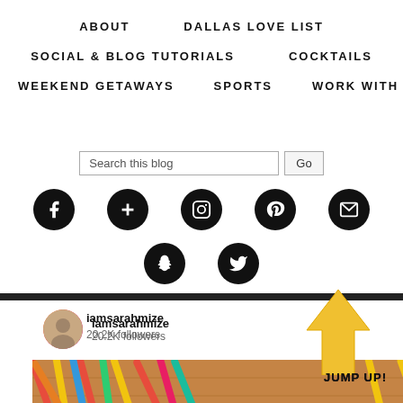ABOUT   DALLAS LOVE LIST   SOCIAL & BLOG TUTORIALS   COCKTAILS   WEEKEND GETAWAYS   SPORTS   WORK WITH ME
[Figure (screenshot): Blog navigation menu with search bar and social media icon buttons (Facebook, Google+, Instagram, Pinterest, Email, Snapchat, Twitter) on white background, followed by an Instagram profile card showing iamsarahmize with 20.2K followers and a photo of colorful straws, with a yellow upward arrow and JUMP UP! text overlay]
iamsarahmize
20.2K followers
JUMP UP!